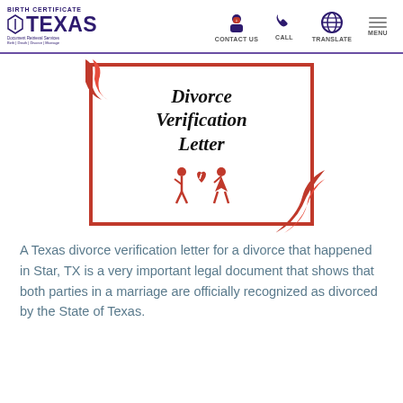BIRTH CERTIFICATE TEXAS | CONTACT US | CALL | TRANSLATE | MENU
[Figure (illustration): Divorce Verification Letter card with decorative red border and red ribbon, featuring old English style title text 'Divorce Verification Letter' and an icon of a man and woman walking apart with a broken heart above them.]
A Texas divorce verification letter for a divorce that happened in Star, TX is a very important legal document that shows that both parties in a marriage are officially recognized as divorced by the State of Texas.